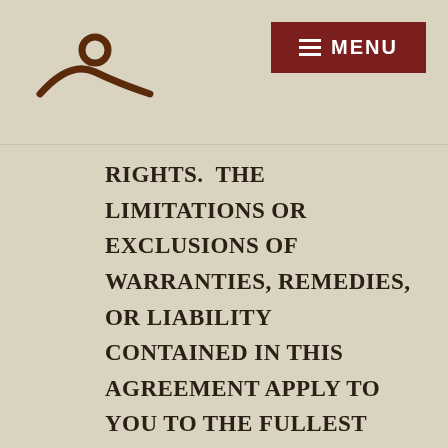Logo and Menu navigation header
RIGHTS.  THE LIMITATIONS OR EXCLUSIONS OF WARRANTIES, REMEDIES, OR LIABILITY CONTAINED IN THIS AGREEMENT APPLY TO YOU TO THE FULLEST EXTENT SUCH LIMITATIONS OR EXCLUSIONS ARE PERMITTED UNDER THE LAWS OF THE JURISDICTION WHERE YOU ARE LOCATED.  IF YOU ARE CALIFORNIA RESIDENTS, YOU HEREBY AGREE TO WAIVE CALIFORNIA CIVIL CODE SECTION 1542, WHICH SAYS:  "A GENERAL